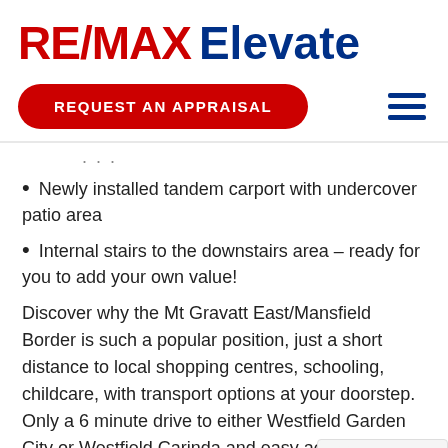[Figure (logo): RE/MAX Elevate logo with red RE/MAX text and blue Elevate text]
REQUEST AN APPRAISAL
Newly installed tandem carport with undercover patio area
Internal stairs to the downstairs area – ready for you to add your own value!
Discover why the Mt Gravatt East/Mansfield Border is such a popular position, just a short distance to local shopping centres, schooling, childcare, with transport options at your doorstep. Only a 6 minute drive to either Westfield Garden City or Westfield Carinda and easy access to both Motorways, taking